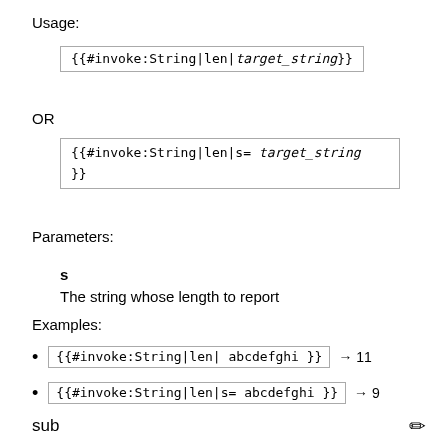Usage:
{{#invoke:String|len|target_string}}
OR
{{#invoke:String|len|s= target_string }}
Parameters:
s
The string whose length to report
Examples:
{{#invoke:String|len| abcdefghi }} → 11
{{#invoke:String|len|s= abcdefghi }} → 9
sub